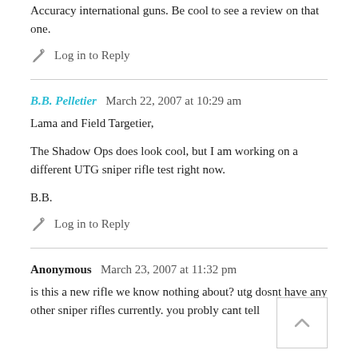Accuracy international guns. Be cool to see a review on that one.
Log in to Reply
B.B. Pelletier   March 22, 2007 at 10:29 am
Lama and Field Targetier,
The Shadow Ops does look cool, but I am working on a different UTG sniper rifle test right now.
B.B.
Log in to Reply
Anonymous   March 23, 2007 at 11:32 pm
is this a new rifle we know nothing about? utg dosnt have any other sniper rifles currently. you probly cant tell